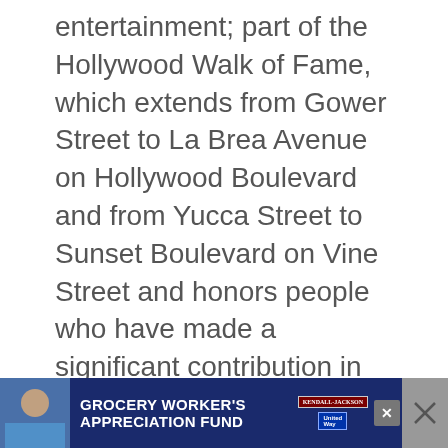entertainment; part of the Hollywood Walk of Fame, which extends from Gower Street to La Brea Avenue on Hollywood Boulevard and from Yucca Street to Sunset Boulevard on Vine Street and honors people who have made a significant contribution in various show business fields.
[Figure (screenshot): UI screenshot showing a heart/favorite button (teal circle with heart icon) and a share button (white circle with share icon), plus a 'WHAT'S NEXT' card showing a thumbnail image and text 'Charles Bukowski To...']
[Figure (screenshot): Advertisement bar at bottom: dark blue background with 'GROCERY WORKER'S APPRECIATION FUND' text in white, Kendall Jackson and United Way logos, and close buttons]